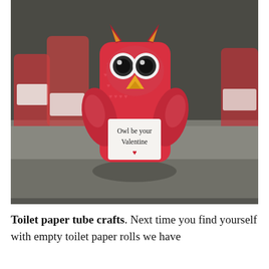[Figure (photo): A toilet paper tube craft shaped like a Valentine's Day owl, covered in red heart-patterned paper, with googly eyes, a yellow beak, and a white belly label reading 'Owl be your Valentine' with a small red heart. Several similar owl crafts are blurred in the background on a grey surface.]
Toilet paper tube crafts. Next time you find yourself with empty toilet paper rolls we have